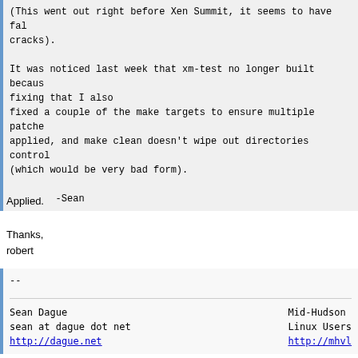(This went out right before Xen Summit, it seems to have fallen through the cracks).

It was noticed last week that xm-test no longer built because of
fixing that I also
fixed a couple of the make targets to ensure multiple patches can be
applied, and make clean doesn't wipe out directories controlled by bzr
(which would be very bad form).

        -Sean
Applied.

Thanks,
robert
--

Sean Dague                                          Mid-Hudson
sean at dague dot net                               Linux Users
http://dague.net                                    http://mhvl